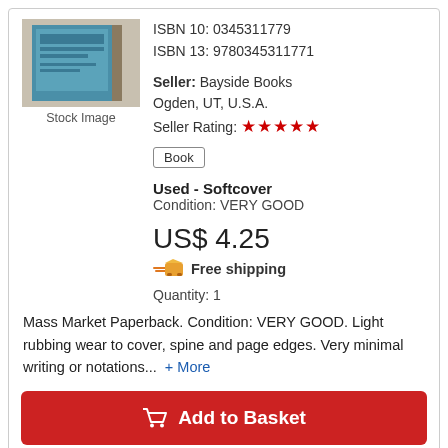[Figure (photo): Stock image of a book with teal/blue cover, partially visible at top]
Stock Image
ISBN 10: 0345311779
ISBN 13: 9780345311771
Seller: Bayside Books
Ogden, UT, U.S.A.
Seller Rating: ★★★★★
Book
Used - Softcover
Condition: VERY GOOD
US$ 4.25
Free shipping
Quantity: 1
Mass Market Paperback. Condition: VERY GOOD. Light rubbing wear to cover, spine and page edges. Very minimal writing or notations... + More
Add to Basket
More buying choices from other sellers on AbeBooks